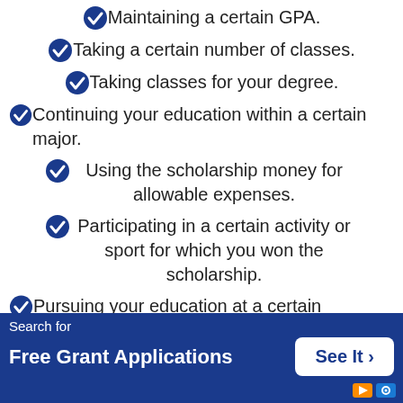Maintaining a certain GPA.
Taking a certain number of classes.
Taking classes for your degree.
Continuing your education within a certain major.
Using the scholarship money for allowable expenses.
Participating in a certain activity or sport for which you won the scholarship.
Pursuing your education at a certain institution.
Again, these are just some of the qualifying factors for a scholarship renewal, Your scholarship may have any combination of these or others not listed, so make sure you read the fine print.
Search for
Free Grant Applications
See It >